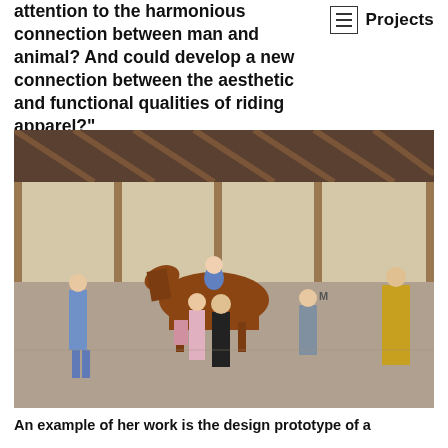attention to the harmonious connection between man and animal? And could develop a new connection between the aesthetic and functional qualities of riding apparel?"
Projects
[Figure (photo): Group of people in an indoor riding arena. A horse with a rider in blue clothing is led by a man on the left. Several people in various outfits including a person in yellow coat on the right stand in the sandy arena.]
An example of her work is the design prototype of a